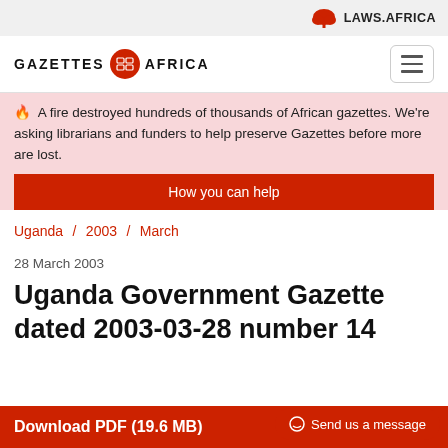LAWS.AFRICA
GAZETTES AFRICA
🔥 A fire destroyed hundreds of thousands of African gazettes. We're asking librarians and funders to help preserve Gazettes before more are lost.
How you can help
Uganda / 2003 / March
28 March 2003
Uganda Government Gazette dated 2003-03-28 number 14
Download PDF (19.6 MB)
Send us a message